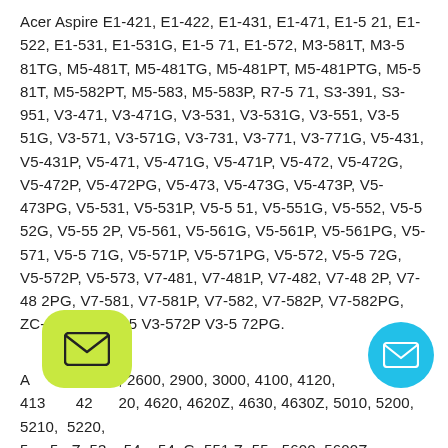Acer Aspire E1-421, E1-422, E1-431, E1-471, E1-521, E1-522, E1-531, E1-531G, E1-571, E1-572, M3-581T, M3-581TG, M5-481T, M5-481TG, M5-481PT, M5-481PTG, M5-581T, M5-582PT, M5-583, M5-583P, R7-571, S3-391, S3-951, V3-471, V3-471G, V3-531, V3-531G, V3-551, V3-551G, V3-571, V3-571G, V3-731, V3-771, V3-771G, V5-431, V5-431P, V5-471, V5-471G, V5-471P, V5-472, V5-472G, V5-472P, V5-472PG, V5-473, V5-473G, V5-473P, V5-473PG, V5-531, V5-531P, V5-551, V5-551G, V5-552, V5-552G, V5-552P, V5-561, V5-561G, V5-561P, V5-561PG, V5-571, V5-571G, V5-571P, V5-571PG, V5-572, V5-572G, V5-572P, V5-573, V7-481, V7-481P, V7-482, V7-482P, V7-482PG, V7-581, V7-581P, V7-582, V7-582P, V7-582PG, ZC-1O2, ZC-6O5 V3-572P V3-572PG.
[Figure (illustration): Green rounded square button with envelope/email icon]
[Figure (illustration): Blue circle button with envelope/email icon]
A...sa 2300, 2600, 2900, 3000, 4100, 4120, 4130, 4250, ...20, 4620, 4620Z, 4630, 4630Z, 5010, 5200, 5210, 5220, 5300, 5300Z, 5335, 5410, 5410G, 5515Z, 5516, 5600, 5600Z...